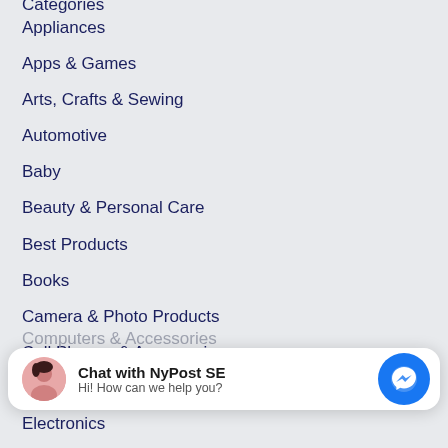Categories
Appliances
Apps & Games
Arts, Crafts & Sewing
Automotive
Baby
Beauty & Personal Care
Best Products
Books
Camera & Photo Products
Cell Phones & Accessories
Clothing, Shoes & Jewelry
Computers & Accessories
Digital Music
Electronics
[Figure (screenshot): Facebook Messenger chat widget overlay with avatar photo, title 'Chat with NyPost SE', subtitle 'Hi! How can we help you?' and blue Messenger icon button]